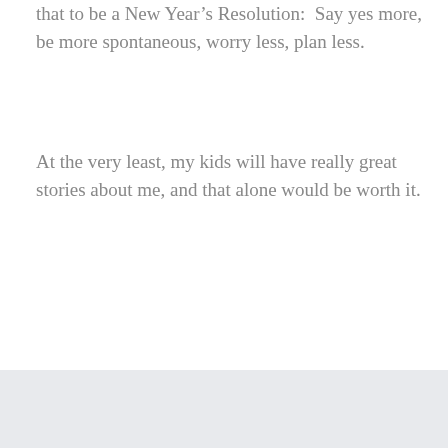that to be a New Year's Resolution: Say yes more, be more spontaneous, worry less, plan less.
At the very least, my kids will have really great stories about me, and that alone would be worth it.